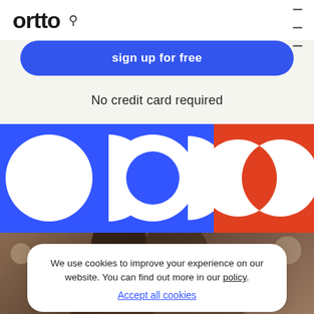ortto
[Figure (illustration): Partially visible blue rounded button with white text showing 'sign up for free' (top partially cropped)]
No credit card required
[Figure (logo): Ortto abstract logo — large white circles and half-circles on blue and red/orange background panels forming a stylized quotation or letter mark]
[Figure (photo): Blurred photo of two people in a casual office/cafe setting]
We use cookies to improve your experience on our website. You can find out more in our policy. Accept all cookies